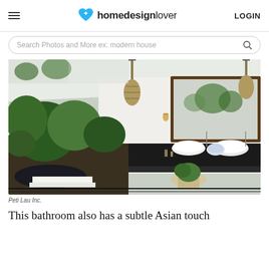homedesignlover  LOGIN
Search Photos and More ex: modern house
[Figure (photo): Luxurious Asian-inspired bathroom with open-air design, lush tropical plants, hanging rattan lanterns, dark countertop with two vessel sinks, large framed mirror, and a soaking tub. Photo by Peti Lau Inc.]
Peti Lau Inc.
This bathroom also has a subtle Asian touch